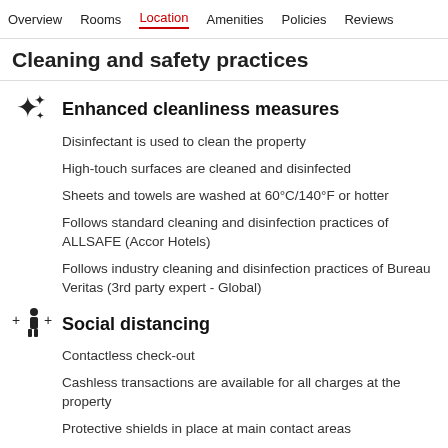Overview  Rooms  Location  Amenities  Policies  Reviews
Cleaning and safety practices
Enhanced cleanliness measures
Disinfectant is used to clean the property
High-touch surfaces are cleaned and disinfected
Sheets and towels are washed at 60°C/140°F or hotter
Follows standard cleaning and disinfection practices of ALLSAFE (Accor Hotels)
Follows industry cleaning and disinfection practices of Bureau Veritas (3rd party expert - Global)
Social distancing
Contactless check-out
Cashless transactions are available for all charges at the property
Protective shields in place at main contact areas
Social distancing measures in place